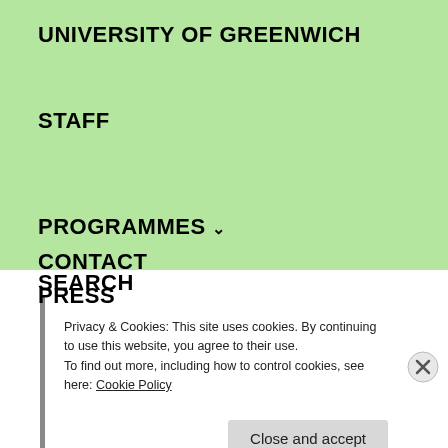UNIVERSITY OF GREENWICH
STAFF
PROGRAMMES
CAMPUS & FACILITIES
PRESS
CONTACT
SEARCH
Privacy & Cookies: This site uses cookies. By continuing to use this website, you agree to their use.
To find out more, including how to control cookies, see here: Cookie Policy
Close and accept